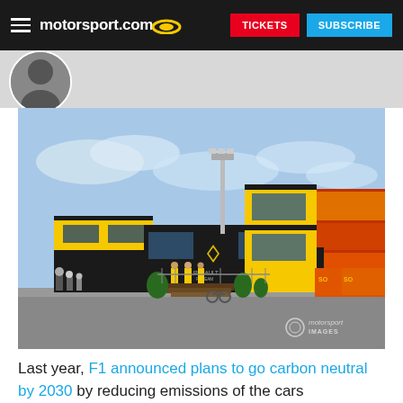motorsport.com | TICKETS | SUBSCRIBE
[Figure (photo): Renault F1 Team motorhome/hospitality building at a Formula 1 race paddock, featuring yellow and black color scheme with the Renault F1 Team logo. People visible outside the building.]
Last year, F1 announced plans to go carbon neutral by 2030 by reducing emissions of the cars